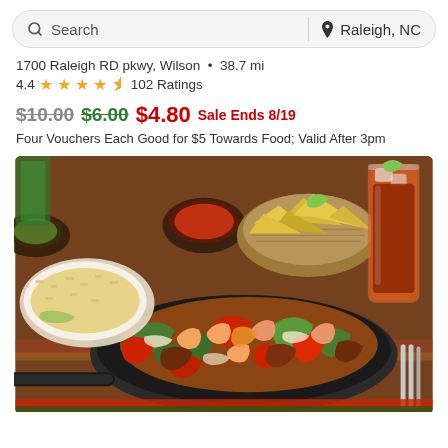Search | Raleigh, NC
1700 Raleigh RD pkwy, Wilson • 38.7 mi
4.4 ★★★★½ 102 Ratings
$10.00 $6.00 $4.80 Sale Ends 8/19
Four Vouchers Each Good for $5 Towards Food; Valid After 3pm
[Figure (photo): Mexican fajitas dish with shrimp, peppers, onions on a sizzling cast iron skillet, with tortilla chips in a basket, a bowl of salsa, rice, and iced tea drinks on a decorated table]